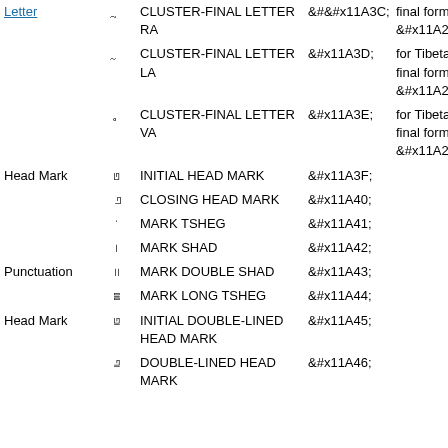| Category | Char | Name | Code | Notes |
| --- | --- | --- | --- | --- |
| Letter | □ | CLUSTER-FINAL LETTER RA | &#x11A3C; | final form of &#x11A2B; |
|  | □ | CLUSTER-FINAL LETTER LA | &#x11A3D; | for Tibetan, final form of &#x11A2C; |
|  | □ | CLUSTER-FINAL LETTER VA | &#x11A3E; | for Tibetan, final form of &#x11A2D; |
| Head Mark | □ | INITIAL HEAD MARK | &#x11A3F; |  |
|  | □ | CLOSING HEAD MARK | &#x11A40; |  |
|  | □ | MARK TSHEG | &#x11A41; |  |
|  | □ | MARK SHAD | &#x11A42; |  |
| Punctuation | □ | MARK DOUBLE SHAD | &#x11A43; |  |
|  | □ | MARK LONG TSHEG | &#x11A44; |  |
| Head Mark | □ | INITIAL DOUBLE-LINED HEAD MARK | &#x11A45; |  |
|  | □ | DOUBLE-LINED HEAD MARK | &#x11A46; |  |